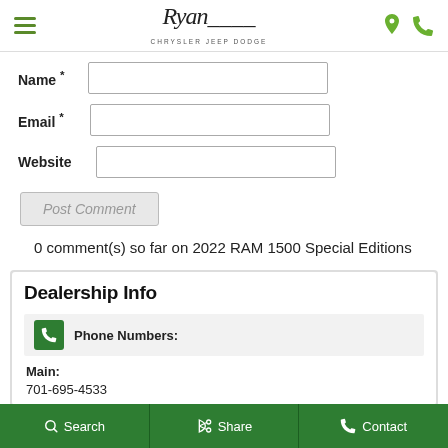Ryan Chrysler Jeep Dodge
Name *
Email *
Website
Post Comment
0 comment(s) so far on 2022 RAM 1500 Special Editions
Dealership Info
Phone Numbers:
Main:
701-695-4533
Search   Share   Contact